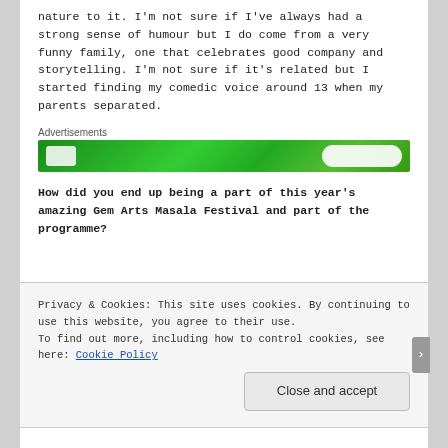nature to it. I'm not sure if I've always had a strong sense of humour but I do come from a very funny family, one that celebrates good company and storytelling. I'm not sure if it's related but I started finding my comedic voice around 13 when my parents separated.
Advertisements
[Figure (other): Green advertisement banner]
How did you end up being a part of this year's amazing Gem Arts Masala Festival and part of the programme?
Privacy & Cookies: This site uses cookies. By continuing to use this website, you agree to their use. To find out more, including how to control cookies, see here: Cookie Policy